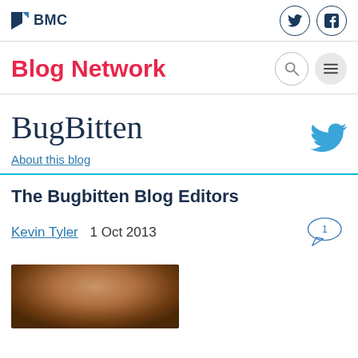BMC
Blog Network
BugBitten
About this blog
The Bugbitten Blog Editors
Kevin Tyler  1 Oct 2013
[Figure (photo): Photograph of a person, partially visible, showing face and hair with warm brown tones]